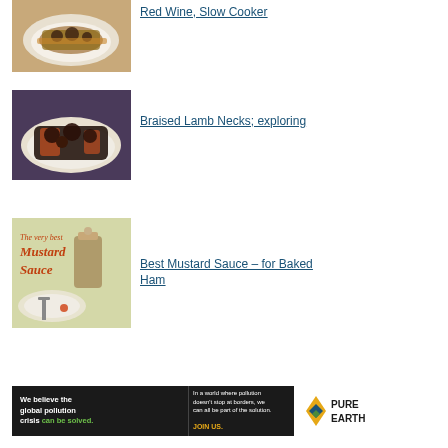[Figure (photo): Food photo - meat dish on plate with sauce]
Red Wine, Slow Cooker
[Figure (photo): Braised lamb necks food photo on white plate with carrots]
Braised Lamb Necks; exploring
[Figure (photo): The very best Mustard Sauce - product/recipe photo with jar and bowl]
Best Mustard Sauce – for Baked Ham
[Figure (other): Pure Earth advertisement banner: We believe the global pollution crisis can be solved. In a world where pollution doesn't stop at borders, we can all be part of the solution. JOIN US.]